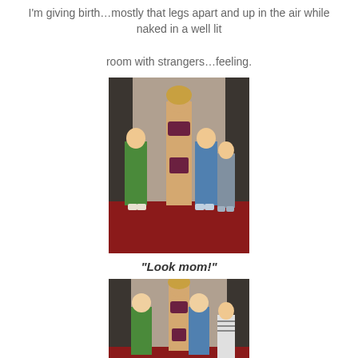I'm giving birth…mostly that legs apart and up in the air while naked in a well lit

room with strangers…feeling.
[Figure (photo): Three boys posing with a life-size cutout of a female figure in lingerie, standing on a red carpet in front of glass doors.]
“Look mom!”
[Figure (photo): Two boys leaning toward/touching the life-size cutout of a female figure while a third boy stands nearby, same location.]